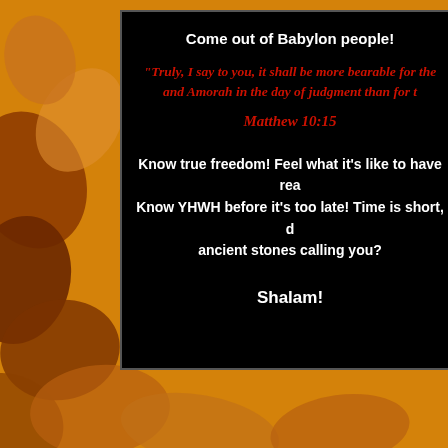[Figure (illustration): Orange/amber autumn background with dark leaf silhouettes, behind a black rectangular panel]
Come out of Babylon people!
"Truly, I say to you, it shall be more bearable for the land of Sdom and Amorah in the day of judgment than for that city."
Matthew 10:15
Know true freedom! Feel what it's like to have real peace! Know YHWH before it's too late! Time is short, do you hear the ancient stones calling you?
Shalam!